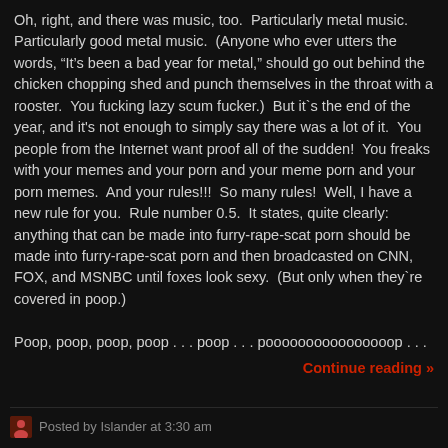Oh, right, and there was music, too.  Particularly metal music.  Particularly good metal music.  (Anyone who ever utters the words, “It’s been a bad year for metal,” should go out behind the chicken chopping shed and punch themselves in the throat with a rooster.  You fucking lazy scum fucker.)  But it`s the end of the year, and it's not enough to simply say there was a lot of it.  You people from the Internet want proof all of the sudden!  You freaks with your memes and your porn and your meme porn and your porn memes.  And your rules!!!  So many rules!  Well, I have a new rule for you.  Rule number 0.5.  It states, quite clearly: anything that can be made into furry-rape-scat porn should be made into furry-rape-scat porn and then broadcasted on CNN, FOX, and MSNBC until foxes look sexy.  (But only when they`re covered in poop.)
Poop, poop, poop, poop . . . poop . . . poooooooooooooooop . . .
Continue reading »
Posted by Islander at 3:30 am